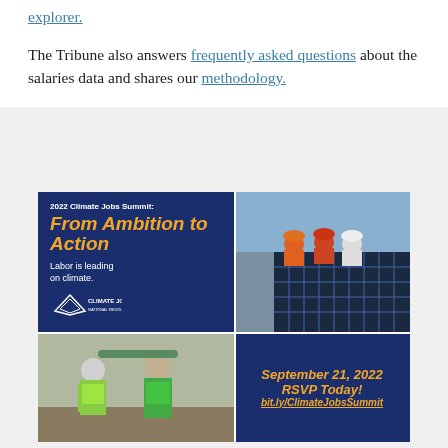explorer.

The Tribune also answers frequently asked questions about the salaries data and shares our methodology.
[Figure (infographic): Advertisement for the 2022 Climate Jobs Summit: From Ambition to Action. Blue background panel with text 'Labor is leading on climate.' and Climate Jobs National Resource Center logo. Photos of workers in high-visibility vests installing solar panels. Bottom right panel with date September 21, 2022, RSVP Today!, bit.ly/ClimateJobsSummit.]